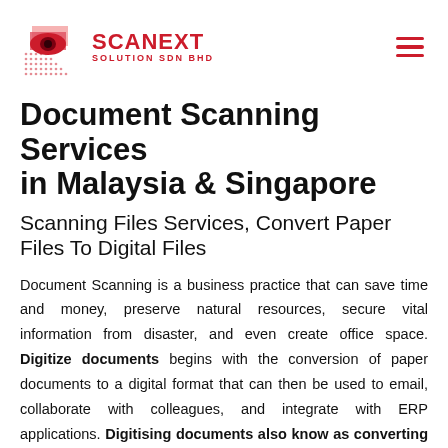SCANEXT SOLUTION SDN BHD
Document Scanning Services in Malaysia & Singapore
Scanning Files Services, Convert Paper Files To Digital Files
Document Scanning is a business practice that can save time and money, preserve natural resources, secure vital information from disaster, and even create office space. Digitize documents begins with the conversion of paper documents to a digital format that can then be used to email, collaborate with colleagues, and integrate with ERP applications. Digitising documents also know as converting hard copy documents to electronic files. Your office able to step forward to paperless working environment. This will help team members